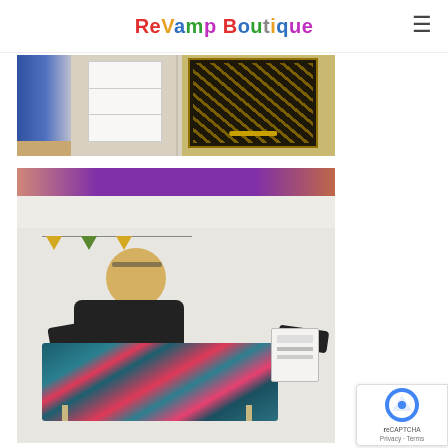ReVamp Boutique
[Figure (photo): Before and after photo showing a plain white chest of drawers on the left and a dark tiger-print decorated box/furniture piece on the right, displayed on a wooden floor]
[Figure (photo): Person with short blonde hair and glasses perched on head, wearing dark clothing, working on upholstering a piece of furniture with colorful teal and red patterned fabric. A paint/product can is visible on the table. Yellow and green bunting flags are in the background. A purple/mauve banner is at the top of the image.]